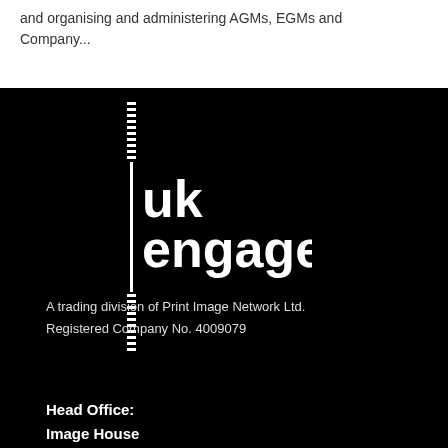and organising and administering AGMs, EGMs and Company...
[Figure (logo): UK Engage logo — white text 'uk engage' with a cross/plus symbol made of horizontal dashes on a black background]
A trading division of Print Image Network Ltd.
Registered Company No. 4009079
Head Office:
Image House
10 Acorn Business Park
Heaton Lane...